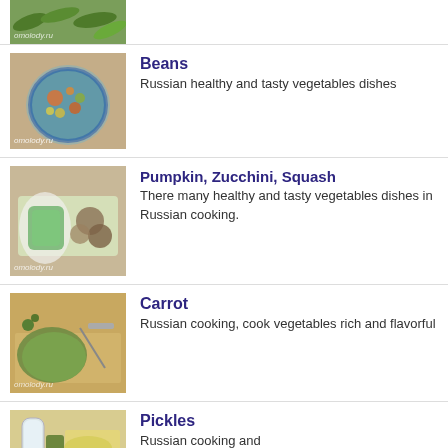[Figure (photo): Partial view of green vegetables/pods on a wooden surface with omolody.ru watermark]
[Figure (photo): Bowl of bean soup with vegetables, omolody.ru watermark]
Beans
Russian healthy and tasty vegetables dishes
[Figure (photo): Plate with stuffed cabbage rolls and mushrooms, omolody.ru watermark]
Pumpkin, Zucchini, Squash
There many healthy and tasty vegetables dishes in Russian cooking.
[Figure (photo): Sliced green bread/loaf on cutting board with knife, omolody.ru watermark]
Carrot
Russian cooking, cook vegetables rich and flavorful
[Figure (photo): Jar and pickled items on surface, omolody.ru watermark]
Pickles
Russian cooking and